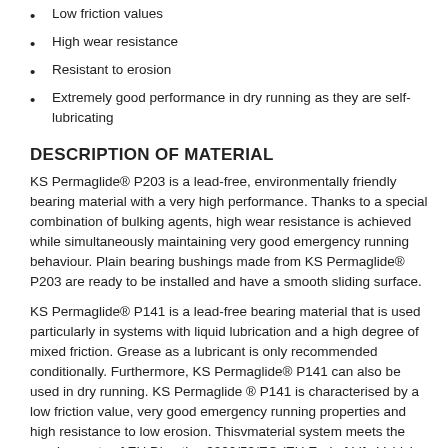Low friction values
High wear resistance
Resistant to erosion
Extremely good performance in dry running as they are self-lubricating
DESCRIPTION OF MATERIAL
KS Permaglide® P203 is a lead-free, environmentally friendly bearing material with a very high performance. Thanks to a special combination of bulking agents, high wear resistance is achieved while simultaneously maintaining very good emergency running behaviour. Plain bearing bushings made from KS Permaglide® P203 are ready to be installed and have a smooth sliding surface.
KS Permaglide® P141 is a lead-free bearing material that is used particularly in systems with liquid lubrication and a high degree of mixed friction. Grease as a lubricant is only recommended conditionally. Furthermore, KS Permaglide® P141 can also be used in dry running. KS Permaglide ® P141 is characterised by a low friction value, very good emergency running properties and high resistance to low erosion. Thisvmaterial system meets the requirements of EU Directive 2000/53/EC (EU End of Life Vehicle Directive).